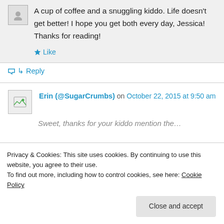A cup of coffee and a snuggling kiddo. Life doesn't get better! I hope you get both every day, Jessica! Thanks for reading!
★ Like
↳ Reply
[Figure (photo): Avatar image placeholder with broken image icon]
Erin (@SugarCrumbs) on October 22, 2015 at 9:50 am
Privacy & Cookies: This site uses cookies. By continuing to use this website, you agree to their use. To find out more, including how to control cookies, see here: Cookie Policy
Close and accept